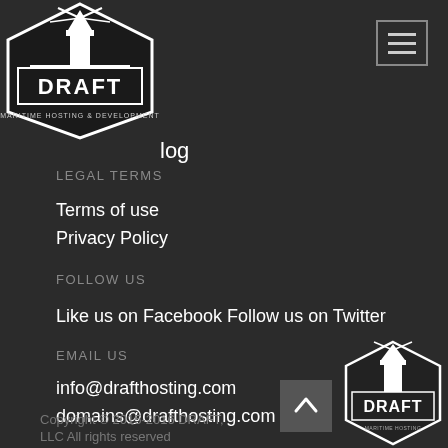[Figure (logo): Draft Maritime Hosting & Development logo with lighthouse, top-left]
[Figure (other): Hamburger menu icon (three horizontal lines in a rectangle border), top-right]
log
LEGAL TERMS
Terms of use
Privacy Policy
FOLLOW US
Like us on Facebook Follow us on Twitter
EMAIL US
info@drafthosting.com
domains@drafthosting.com
[Figure (logo): Draft Maritime Hosting & Development logo, bottom-right, partially visible]
[Figure (other): Scroll-to-top button with up chevron]
Copyright © 2015-2016 DRAFT, LLC All rights reserved